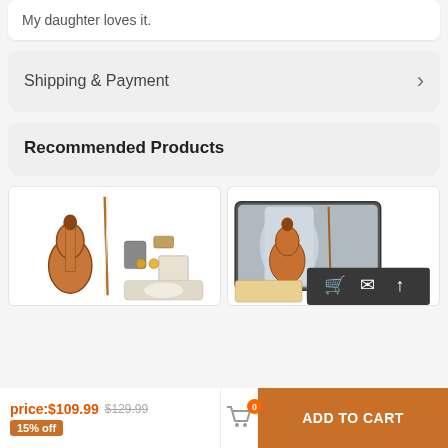My daughter loves it.
Shipping & Payment
Recommended Products
[Figure (photo): Violin set with bow, case, tuner, and accessories on white background]
[Figure (photo): Violin in open case with bow, strings pack, and tuner on white background]
price:$109.99 $129.99
15% off
0
ADD TO CART